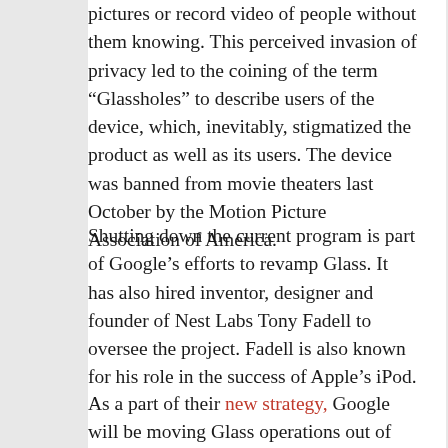pictures or record video of people without them knowing. This perceived invasion of privacy led to the coining of the term “Glassholes” to describe users of the device, which, inevitably, stigmatized the product as well as its users. The device was banned from movie theaters last October by the Motion Picture Association of America.
Shutting down the current program is part of Google’s efforts to revamp Glass. It has also hired inventor, designer and founder of Nest Labs Tony Fadell to oversee the project. Fadell is also known for his role in the success of Apple’s iPod.
As a part of their new strategy, Google will be moving Glass operations out of